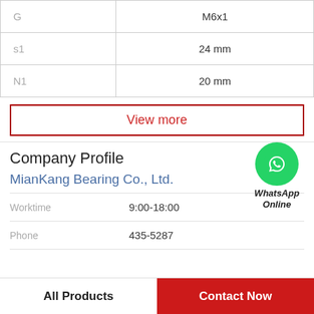| Parameter | Value |
| --- | --- |
| G | M6x1 |
| s1 | 24 mm |
| N1 | 20 mm |
View more
Company Profile
MianKang Bearing Co., Ltd.
Worktime 9:00-18:00
Phone 435-5287
All Products
Contact Now